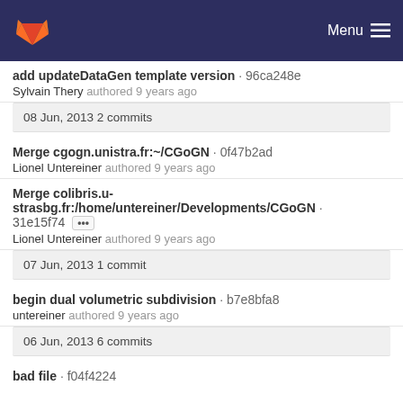Menu
add updateDataGen template version · 96ca248e
Sylvain Thery authored 9 years ago
08 Jun, 2013 2 commits
Merge cgogn.unistra.fr:~/CGoGN · 0f47b2ad
Lionel Untereiner authored 9 years ago
Merge colibris.u-strasbg.fr:/home/untereiner/Developments/CGoGN · 31e15f74 ••• 
Lionel Untereiner authored 9 years ago
07 Jun, 2013 1 commit
begin dual volumetric subdivision · b7e8bfa8
untereiner authored 9 years ago
06 Jun, 2013 6 commits
bad file · f04f4224